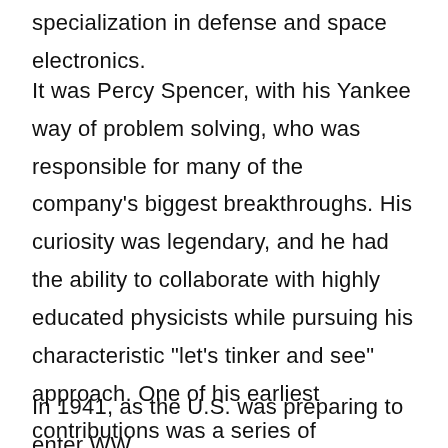specialization in defense and space electronics.
It was Percy Spencer, with his Yankee way of problem solving, who was responsible for many of the company's biggest breakthroughs. His curiosity was legendary, and he had the ability to collaborate with highly educated physicists while pursuing his characteristic "let's tinker and see" approach. One of his earliest contributions was a series of improvements to photoelectric vacuum tubes, a major step in the development of the television tube.
In 1941, as the U.S. was preparing to enter WW